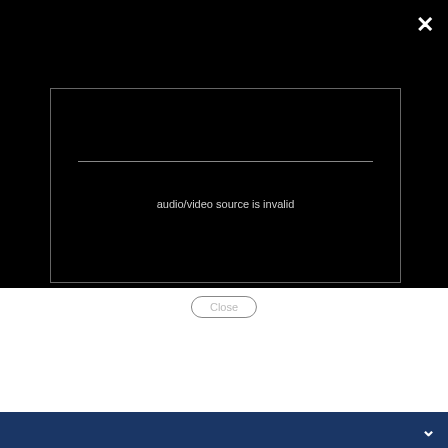[Figure (screenshot): Modal overlay with black background showing a video player error. A close X button is in the top right. The video player box shows a horizontal line and the text 'audio/video source is invalid'. A pill-shaped 'Close' button appears below the video box.]
audio/video source is invalid
Close
@nflnetwork
[Figure (photo): Seattle Seahawks schedule graphic. A player in a Seahawks uniform is shown against a blue/snowy background. The bottom shows game dates: SEP 12 vs Colts, OCT 25 vs Saints (WK 7 SNF), DEC 5 vs 49ers (WK 13 SNF).]